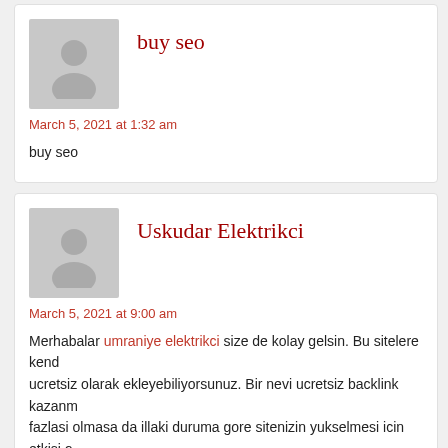buy seo
March 5, 2021 at 1:32 am
buy seo
Uskudar Elektrikci
March 5, 2021 at 9:00 am
Merhabalar umraniye elektrikci size de kolay gelsin. Bu sitelere kend... ucretsiz olarak ekleyebiliyorsunuz. Bir nevi ucretsiz backlink kazanm... fazlasi olmasa da illaki duruma gore sitenizin yukselmesi icin etkisi o...